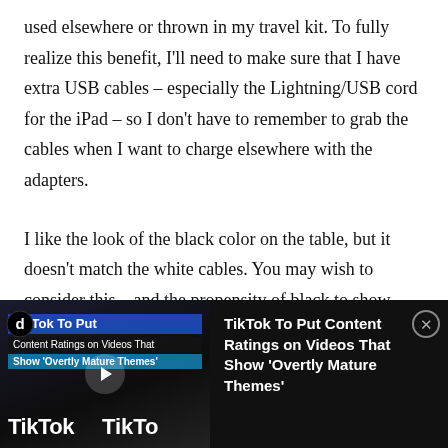used elsewhere or thrown in my travel kit. To fully realize this benefit, I'll need to make sure that I have extra USB cables – especially the Lightning/USB cord for the iPad – so I don't have to remember to grab the cables when I want to charge elsewhere with the adapters.
I like the look of the black color on the table, but it doesn't match the white cables. You may wish to consider this – and the propensity of black to show dust and fingerprints – when choosing between black and white.
[Figure (other): Advertisement banner featuring a TikTok news story thumbnail on the left showing the TikTok logo and overlaid text 'TikTok To Put / Content Ratings on Videos That / Show Overtly Mature Themes' with a play button, and on the right the text headline 'TikTok To Put Content Ratings on Videos That Show Overtly Mature Themes' in white on black background, with a close (X) button.]